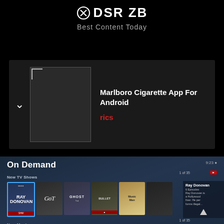DSR ZB
Best Content Today
Marlboro Cigarette App For Android
rics
[Figure (screenshot): On Demand TV interface showing New TV Shows row with Ray Donovan, Game of Thrones, Ghost, Bullet, Music Man, and other posters, plus New Movies row with Ocean's 8, a film, Jurassic World, MEG, and action film poster. Side panel shows Ray Donovan info with episode details.]